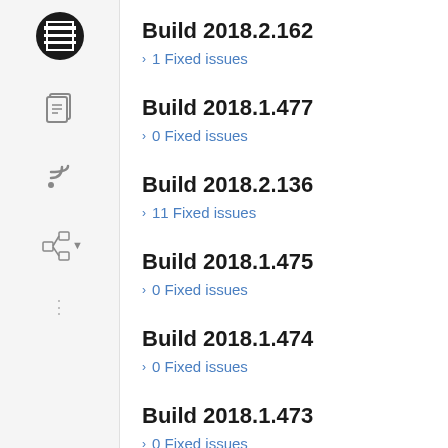Build 2018.2.162
> 1 Fixed issues
Build 2018.1.477
> 0 Fixed issues
Build 2018.2.136
> 11 Fixed issues
Build 2018.1.475
> 0 Fixed issues
Build 2018.1.474
> 0 Fixed issues
Build 2018.1.473
> 0 Fixed issues